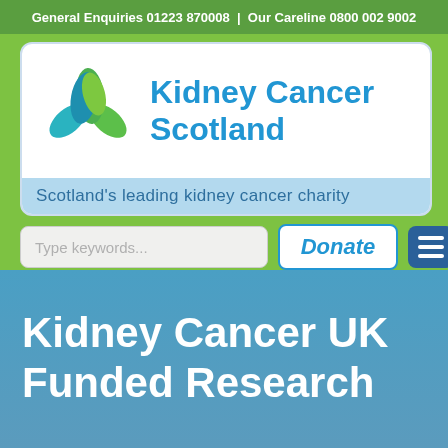General Enquiries 01223 870008 | Our Careline 0800 002 9002
[Figure (logo): Kidney Cancer Scotland logo with leaf graphic and tagline 'Scotland's leading kidney cancer charity']
Type keywords...
Donate
Kidney Cancer UK Funded Research